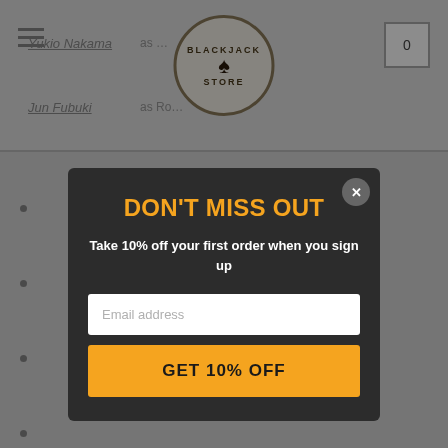Blackjack Store — website header with logo, hamburger menu, and cart
Yukio Nakama as …
Jun Fubuki as Ro…
(partially obscured)
(partially obscured)
(partially obscured)
Oth…
(partially obscured)
(partially obscured)
Ryuta Sato as Maes Hughes
Shinji Uchiyama as Gluttony
[Figure (screenshot): Modal popup dialog on Blackjack Store website. Dark background with orange title 'DON'T MISS OUT', white subtitle 'Take 10% off your first order when you sign up', email input field, and orange CTA button 'GET 10% OFF'. Close button (X) in top right corner.]